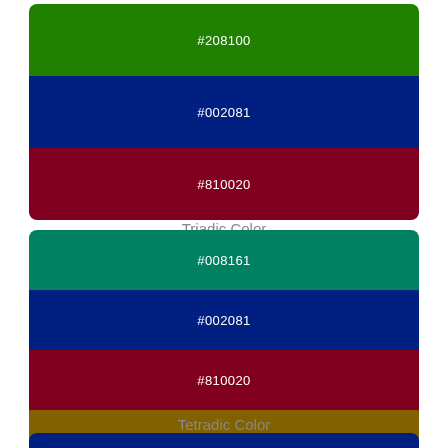[Figure (infographic): Triadic color palette swatches: #208100 (dark green), #002081 (dark blue), #810020 (dark red), stacked vertically in a rounded rectangle]
Triadic Color
[Figure (infographic): Tetradic color palette swatches: #008161 (teal), #002081 (dark blue), #810020 (dark red), #816100 (dark gold/olive), stacked vertically in a rounded rectangle]
Tetradic Color